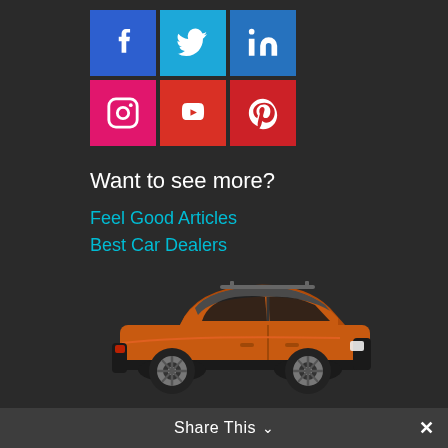[Figure (other): Social media icons grid: Facebook (blue), Twitter (cyan), LinkedIn (blue), Instagram (pink), YouTube (red), Pinterest (red)]
Want to see more?
Feel Good Articles
Best Car Dealers
[Figure (illustration): Orange SUV car (side profile view) on dark background]
Share This ∨  ✕